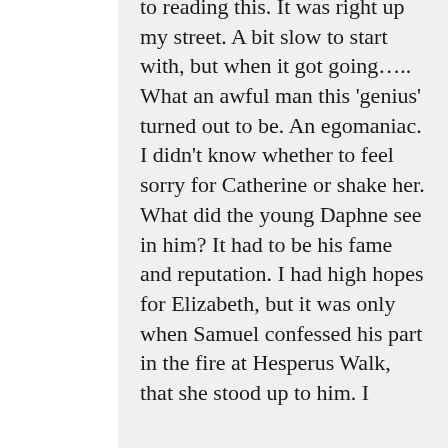to reading this. It was right up my street. A bit slow to start with, but when it got going….. What an awful man this 'genius' turned out to be. An egomaniac. I didn't know whether to feel sorry for Catherine or shake her. What did the young Daphne see in him? It had to be his fame and reputation. I had high hopes for Elizabeth, but it was only when Samuel confessed his part in the fire at Hesperus Walk, that she stood up to him. I